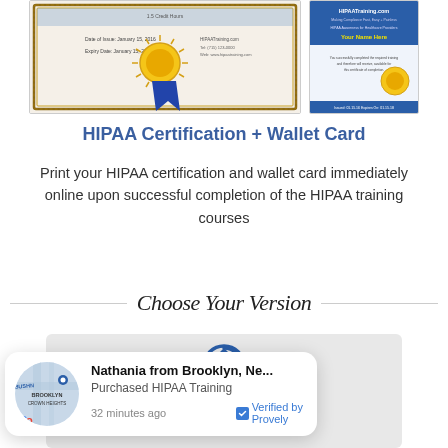[Figure (illustration): Two HIPAA training certificate images side by side: a large landscape certificate on the left and a smaller wallet card on the right, both featuring a gold sunburst seal.]
HIPAA Certification + Wallet Card
Print your HIPAA certification and wallet card immediately online upon successful completion of the HIPAA training courses
Choose Your Version
[Figure (screenshot): Gray card area showing a circular reload/refresh icon at the top, with text 'I work for a healthcare provider' at the bottom.]
[Figure (infographic): Notification popup overlay: Brooklyn Crown Heights map thumbnail, text 'Nathania from Brooklyn, Ne... Purchased HIPAA Training 32 minutes ago' with a blue 'Verified by Provely' badge.]